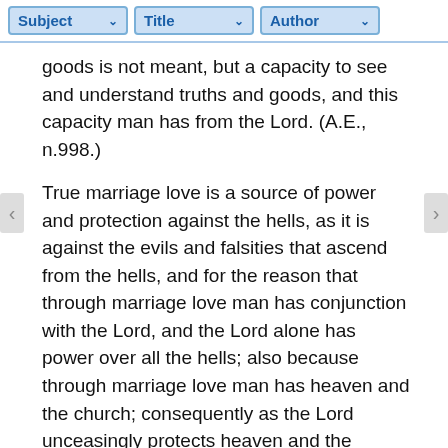Subject | Title | Author
goods is not meant, but a capacity to see and understand truths and goods, and this capacity man has from the Lord. (A.E., n.998.)
True marriage love is a source of power and protection against the hells, as it is against the evils and falsities that ascend from the hells, and for the reason that through marriage love man has conjunction with the Lord, and the Lord alone has power over all the hells; also because through marriage love man has heaven and the church; consequently as the Lord unceasingly protects heaven and the church from the evils and falsities that rise up from the hells, so He protects all who are in true marriage love, because such and no others have heaven and the church. For heaven and the church are a marriage of good and truth, from which is marriage love, as has been said